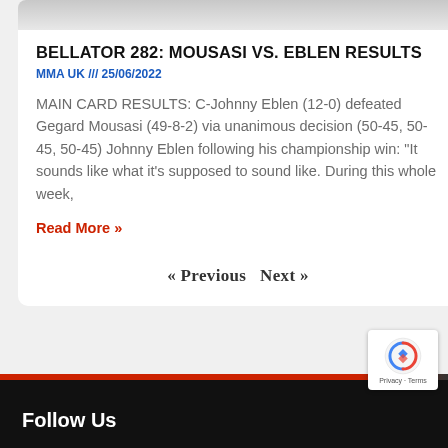[Figure (photo): Cropped photo strip at top of article card showing MMA fighters]
BELLATOR 282: MOUSASI VS. EBLEN RESULTS
MMA UK /// 25/06/2022
MAIN CARD RESULTS: C-Johnny Eblen (12-0) defeated Gegard Mousasi (49-8-2) via unanimous decision (50-45, 50-45, 50-45) Johnny Eblen following his championship win: “It sounds like what it’s supposed to sound like. During this whole week,
Read More »
« Previous  Next »
Follow Us